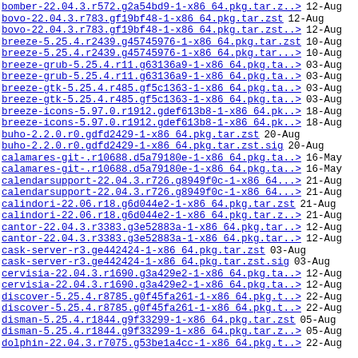bomber-22.04.3.r572.g2a54bd9-1-x86_64.pkg.tar.z..> 12-Aug
bovo-22.04.3.r783.gf19bf48-1-x86_64.pkg.tar.zst 12-Aug
bovo-22.04.3.r783.gf19bf48-1-x86_64.pkg.tar.zst..> 12-Aug
breeze-5.25.4.r2439.g45745976-1-x86_64.pkg.tar.zst 10-Aug
breeze-5.25.4.r2439.g45745976-1-x86_64.pkg.tar...> 10-Aug
breeze-grub-5.25.4.r11.g63136a9-1-x86_64.pkg.ta..> 03-Aug
breeze-grub-5.25.4.r11.g63136a9-1-x86_64.pkg.ta..> 03-Aug
breeze-gtk-5.25.4.r485.gf5c1363-1-x86_64.pkg.ta..> 03-Aug
breeze-gtk-5.25.4.r485.gf5c1363-1-x86_64.pkg.ta..> 03-Aug
breeze-icons-5.97.0.r1912.gdef613b8-1-x86_64.pk..> 18-Aug
breeze-icons-5.97.0.r1912.gdef613b8-1-x86_64.pk..> 18-Aug
buho-2.2.0.r0.gdfd2429-1-x86_64.pkg.tar.zst 20-Aug
buho-2.2.0.r0.gdfd2429-1-x86_64.pkg.tar.zst.sig 20-Aug
calamares-git-.r10688.d5a79180e-1-x86_64.pkg.ta..> 16-May
calamares-git-.r10688.d5a79180e-1-x86_64.pkg.ta..> 16-May
calendarsupport-22.04.3.r726.g8949f0c-1-x86_64...> 21-Aug
calendarsupport-22.04.3.r726.g8949f0c-1-x86_64...> 21-Aug
calindori-22.06.r18.g6d044e2-1-x86_64.pkg.tar.zst 21-Aug
calindori-22.06.r18.g6d044e2-1-x86_64.pkg.tar.z..> 21-Aug
cantor-22.04.3.r3383.g3e52883a-1-x86_64.pkg.tar..> 12-Aug
cantor-22.04.3.r3383.g3e52883a-1-x86_64.pkg.tar..> 12-Aug
cask-server-r3.ge442424-1-x86_64.pkg.tar.zst 03-Aug
cask-server-r3.ge442424-1-x86_64.pkg.tar.zst.sig 03-Aug
cervisia-22.04.3.r1690.g3a429e2-1-x86_64.pkg.ta..> 12-Aug
cervisia-22.04.3.r1690.g3a429e2-1-x86_64.pkg.ta..> 12-Aug
discover-5.25.4.r8785.g0f45fa261-1-x86_64.pkg.t..> 22-Aug
discover-5.25.4.r8785.g0f45fa261-1-x86_64.pkg.t..> 22-Aug
disman-5.25.4.r1844.g9f33299-1-x86_64.pkg.tar.zst 05-Aug
disman-5.25.4.r1844.g9f33299-1-x86_64.pkg.tar.z..> 05-Aug
dolphin-22.04.3.r7075.g53be1a4cc-1-x86_64.pkg.t..> 22-Aug